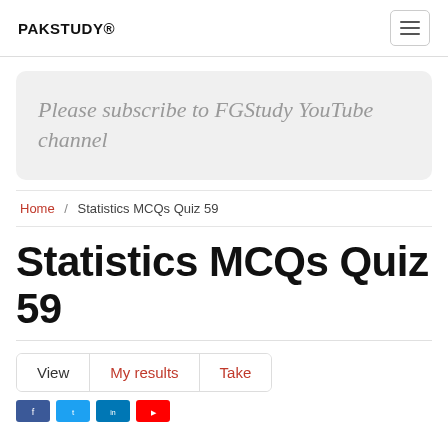PAKSTUDY®
Please subscribe to FGStudy YouTube channel
Home / Statistics MCQs Quiz 59
Statistics MCQs Quiz 59
View  My results  Take